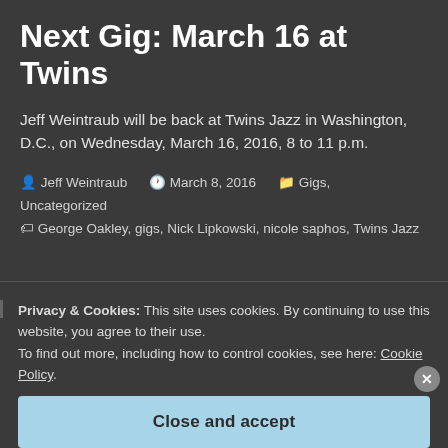Next Gig: March 16 at Twins
Jeff Weintraub will be back at Twins Jazz in Washington, D.C., on Wednesday, March 16, 2016, 8 to 11 p.m.
Jeff Weintraub  March 8, 2016  Gigs, Uncategorized  George Oakley, gigs, Nick Lipkowski, nicole saphos, Twins Jazz
Privacy & Cookies: This site uses cookies. By continuing to use this website, you agree to their use.
To find out more, including how to control cookies, see here: Cookie Policy.
Close and accept